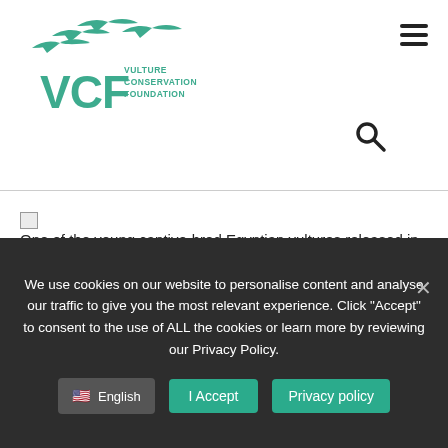[Figure (logo): VCF Vulture Conservation Foundation logo with flying vulture silhouettes in teal/green color]
[Figure (other): Hamburger menu icon (three horizontal lines)]
[Figure (other): Donate button - teal/green rectangle]
[Figure (other): Search magnifying glass icon]
One of the young captive-bred Egyptian vultures released in Bulgaria
One of the young captive-bred Egyptian vultures released in Bulgaria
Getting to know other birds
We use cookies on our website to personalise content and analyse our traffic to give you the most relevant experience. Click "Accept" to consent to the use of ALL the cookies or learn more by reviewing our Privacy Policy.